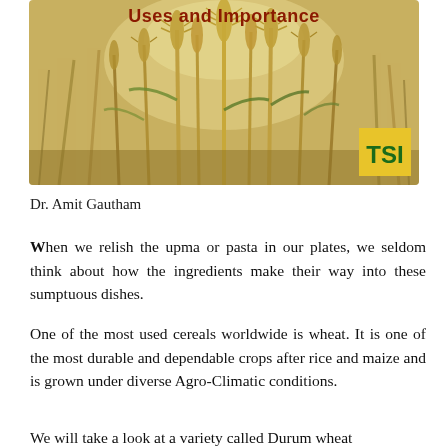[Figure (photo): Close-up photograph of golden wheat stalks in a field, with green leaves visible. A yellow square logo with green 'TSI' text appears in the bottom-right corner of the image. A red-brown bold title 'Uses and Importance' is overlaid at the top of the image.]
Uses and Importance
Dr. Amit Gautham
When we relish the upma or pasta in our plates, we seldom think about how the ingredients make their way into these sumptuous dishes.
One of the most used cereals worldwide is wheat. It is one of the most durable and dependable crops after rice and maize and is grown under diverse Agro-Climatic conditions.
We will take a look at a variety called Durum wheat